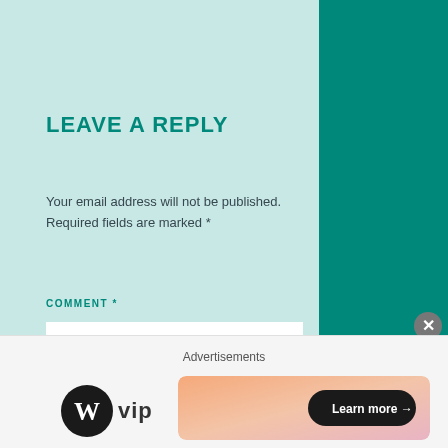LEAVE A REPLY
Your email address will not be published. Required fields are marked *
COMMENT *
NAME *
EMAIL *
Advertisements
[Figure (logo): WordPress VIP logo with circle W icon and 'vip' text]
[Figure (screenshot): Advertisement banner with orange/pink gradient and 'Learn more' button]